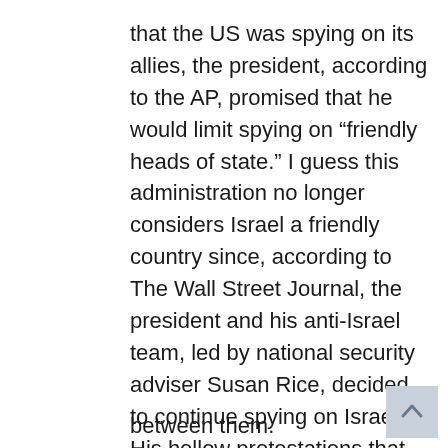that the US was spying on its allies, the president, according to the AP, promised that he would limit spying on “friendly heads of state.” I guess this administration no longer considers Israel a friendly country since, according to The Wall Street Journal, the president and his anti-Israel team, led by national security adviser Susan Rice, decided to continue spying on Israel. His hollow protestations that the US-Israel relationship is unbreakable, and that the US “commitment to Israel’s security is sacrosanct,” are unconvincing. As I have opined for seven years, Obama’s goal from the start was to not only to create daylight between the nations, but also to permanently weaken the bonds between them.